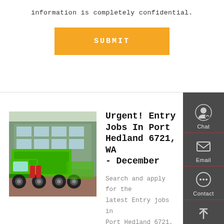information is completely confidential.
SUBMIT
[Figure (photo): Green heavy-duty dump truck parked in front of a building]
Urgent! Entry Jobs In Port Hedland 6721, WA - December
Search and apply for the latest Entry jobs in Port Hedland 6721, WA. Verified employers.